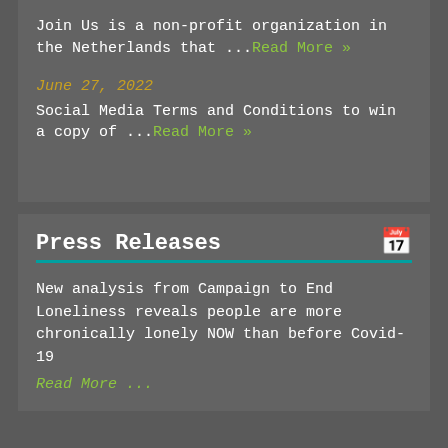Join Us is a non-profit organization in the Netherlands that ...Read More »
June 27, 2022
Social Media Terms and Conditions to win a copy of ...Read More »
Press Releases
New analysis from Campaign to End Loneliness reveals people are more chronically lonely NOW than before Covid-19
Read More ...